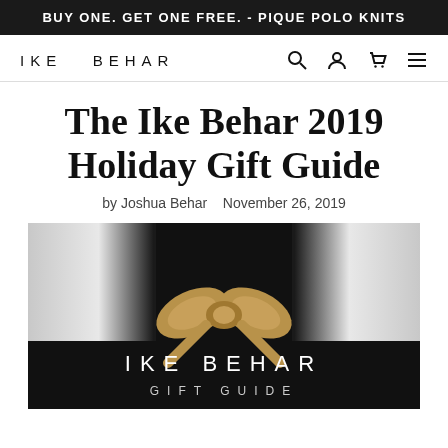BUY ONE. GET ONE FREE. - PIQUE POLO KNITS
[Figure (logo): IKE BEHAR logo with navigation icons (search, user, cart, menu)]
The Ike Behar 2019 Holiday Gift Guide
by Joshua Behar   November 26, 2019
[Figure (illustration): Ike Behar Gift Guide promotional image: dark background with gradient sides, a gold bow ribbon at center top, and text IKE BEHAR GIFT GUIDE in white letters on black background]